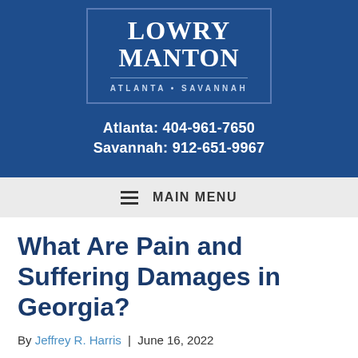[Figure (logo): Lowry Manton law firm logo with text LOWRY MANTON and ATLANTA • SAVANNAH in a bordered box on dark blue background]
Atlanta: 404-961-7650
Savannah: 912-651-9967
MAIN MENU
What Are Pain and Suffering Damages in Georgia?
By Jeffrey R. Harris | June 16, 2022